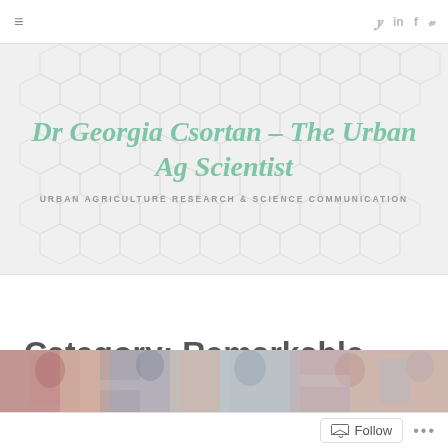≡   𝗒 in f 𝓿
Dr Georgia Csortan – The Urban Ag Scientist
URBAN AGRICULTURE RESEARCH & SCIENCE COMMUNICATION
Category: Remarkable Communicators
[Figure (photo): Partial view of a crowd of people at an event, blurred/cropped at bottom of page]
Follow   •••